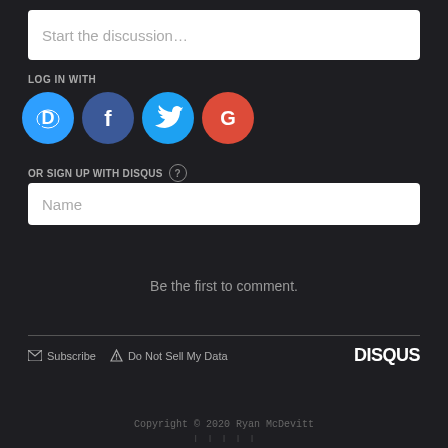Start the discussion...
LOG IN WITH
[Figure (other): Social login icons: Disqus (blue D), Facebook (dark blue f), Twitter (light blue bird), Google (red G)]
OR SIGN UP WITH DISQUS ?
Name
Be the first to comment.
Subscribe   Do Not Sell My Data   DISQUS
Copyright © 2020 Ryan McDevitt